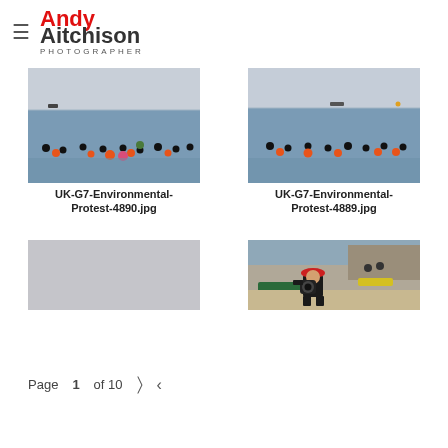Andy Aitchison Photographer
[Figure (photo): Environmental protest swimmers in the sea holding orange buoys at G7 UK summit – UK-G7-Environmental-Protest-4890.jpg]
UK-G7-Environmental-Protest-4890.jpg
[Figure (photo): Environmental protest swimmers in the sea holding orange buoys at G7 UK summit – UK-G7-Environmental-Protest-4889.jpg]
UK-G7-Environmental-Protest-4889.jpg
[Figure (photo): Partially visible grey/light placeholder image thumbnail]
[Figure (photo): Person in wetsuit wearing red Mario hat crouching on beach with camera, kayak visible behind]
Page 1 of 10